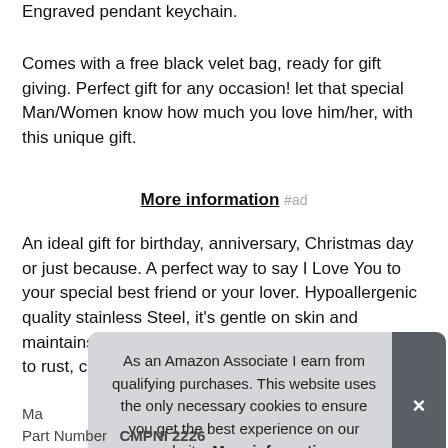Engraved pendant keychain.
Comes with a free black velet bag, ready for gift giving. Perfect gift for any occasion! let that special Man/Women know how much you love him/her, with this unique gift.
More information #ad
An ideal gift for birthday, anniversary, Christmas day or just because. A perfect way to say I Love You to your special best friend or your lover. Hypoallergenic quality stainless Steel, it's gentle on skin and maintains a long lasting sheen and is highly resisted to rust, corrosion and tarnishing.
As an Amazon Associate I earn from qualifying purchases. This website uses the only necessary cookies to ensure you get the best experience on our website. More information